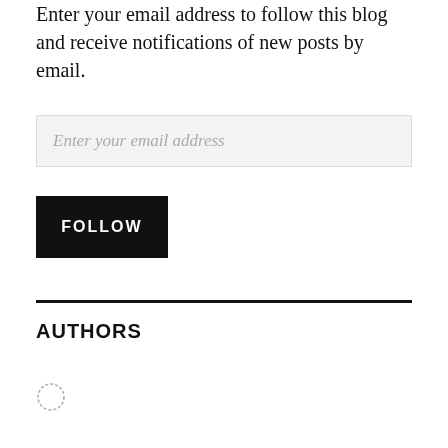Enter your email address to follow this blog and receive notifications of new posts by email.
Enter your email address
FOLLOW
AUTHORS
[Figure (other): Small circular avatar placeholder icon with dotted border]